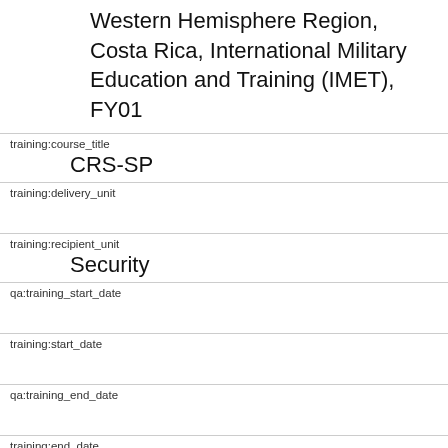Western Hemisphere Region, Costa Rica, International Military Education and Training (IMET), FY01
training:course_title
CRS-SP
training:delivery_unit
training:recipient_unit
Security
qa:training_start_date
training:start_date
qa:training_end_date
training:end_date
training:location
training:quantity